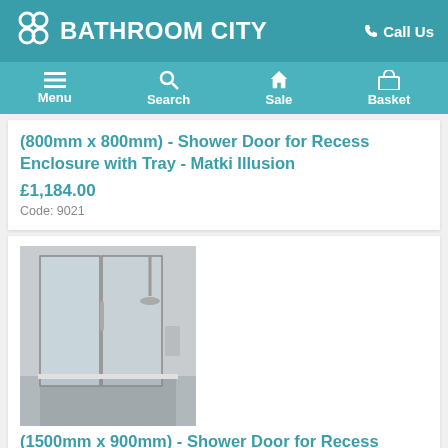BATHROOM CITY | Call Us
Menu | Search | Sale | Basket
(800mm x 800mm) - Shower Door for Recess Enclosure with Tray - Matki Illusion
£1,184.00
Code: 9021
[Figure (photo): Shower enclosure with glass door and tray, grey tiled bathroom]
(1500mm x 900mm) - Shower Door for Recess Enclosure with Tray - Matki Illusion
£1,490.00
Code: 9338